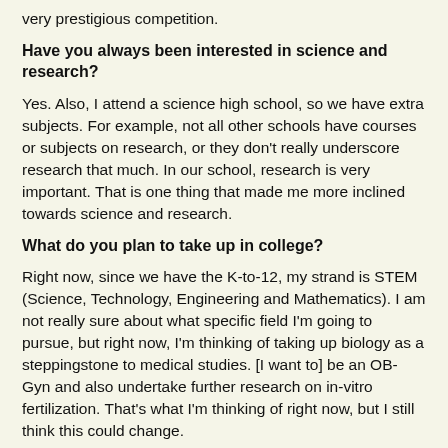very prestigious competition.
Have you always been interested in science and research?
Yes. Also, I attend a science high school, so we have extra subjects. For example, not all other schools have courses or subjects on research, or they don't really underscore research that much. In our school, research is very important. That is one thing that made me more inclined towards science and research.
What do you plan to take up in college?
Right now, since we have the K-to-12, my strand is STEM (Science, Technology, Engineering and Mathematics). I am not really sure about what specific field I'm going to pursue, but right now, I'm thinking of taking up biology as a steppingstone to medical studies. [I want to] be an OB-Gyn and also undertake further research on in-vitro fertilization. That's what I'm thinking of right now, but I still think this could change.